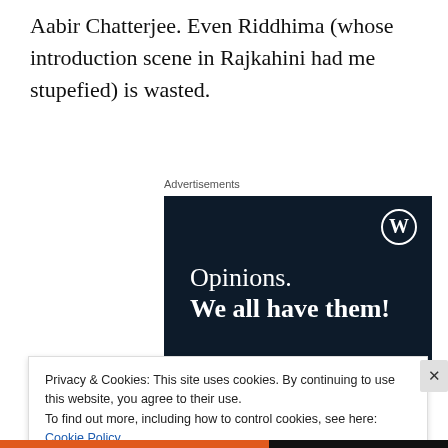Aabir Chatterjee. Even Riddhima (whose introduction scene in Rajkahini had me stupefied) is wasted.
Advertisements
[Figure (illustration): WordPress advertisement banner with dark navy background showing WordPress logo (W in circle) in top right, text reading 'Opinions. We all have them!' in white, a pink button and partial white circle at the bottom.]
Privacy & Cookies: This site uses cookies. By continuing to use this website, you agree to their use.
To find out more, including how to control cookies, see here: Cookie Policy
Close and accept